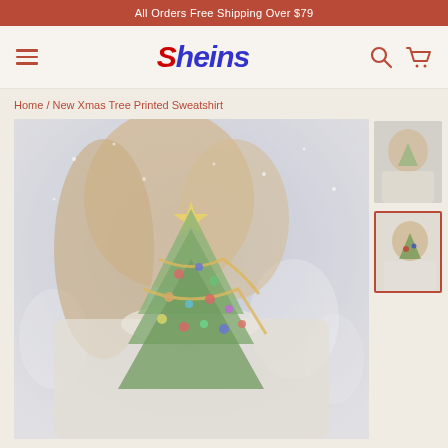All Orders Free Shipping Over $79
Sheins
Home / New Xmas Tree Printed Sweatshirt
[Figure (photo): Product photo of a woman wearing a white sweatshirt with a Christmas tree print (decorated tree with star topper, colorful ornaments, snow scene background). Viewed from behind/side showing her long hair.]
[Figure (photo): First thumbnail image (faded/unselected) showing alternate view of the Christmas tree sweatshirt product.]
[Figure (photo): Second thumbnail image (selected, outlined in red/brown) showing alternate view of the Christmas tree sweatshirt product.]